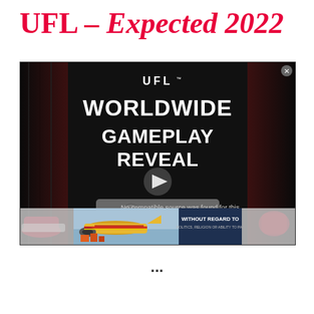UFL – Expected 2022
[Figure (screenshot): UFL Worldwide Gameplay Reveal video player screenshot showing dark background with UFL logo, bold white text 'WORLDWIDE GAMEPLAY REVEAL', a play button in center, and 'No compatible source was found for this media.' message. Red cleats visible bottom left, red glove bottom right. An advertisement banner below showing an airplane with text 'WITHOUT REGARD TO POLITICS, RELIGION OR ABILITY TO PAY'.]